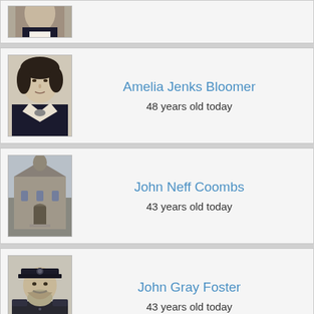[Figure (photo): Partial portrait photo at top, cropped — only bottom portion visible]
Amelia Jenks Bloomer
48 years old today
[Figure (photo): Portrait of Amelia Jenks Bloomer, a woman with curly hair]
John Neff Coombs
43 years old today
[Figure (photo): Image of a building, appears to be an old stone or brick structure]
John Gray Foster
43 years old today
[Figure (photo): Portrait of John Gray Foster, a man in military uniform with a cap and beard]